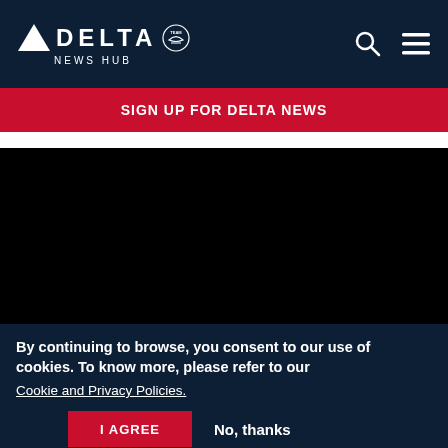Delta News Hub
SIGN UP FOR DELTA NEWS
[Figure (other): Black video/image placeholder area]
By continuing to browse, you consent to our use of cookies. To know more, please refer to our Cookie and Privacy Policies.
I AGREE   No, thanks